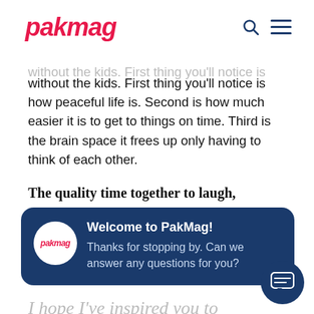pakmag
without the kids. First thing you'll notice is how peaceful life is. Second is how much easier it is to get to things on time. Third is the brain space it frees up only having to think of each other.
The quality time together to laugh,
[Figure (screenshot): Chat popup widget from PakMag website: dark navy blue rounded rectangle with PakMag logo avatar, title 'Welcome to PakMag!' and message 'Thanks for stopping by. Can we answer any questions for you?']
I hope I've inspired you to take some time out and plan your own Maplemoon – I'm sure this term will catch on!